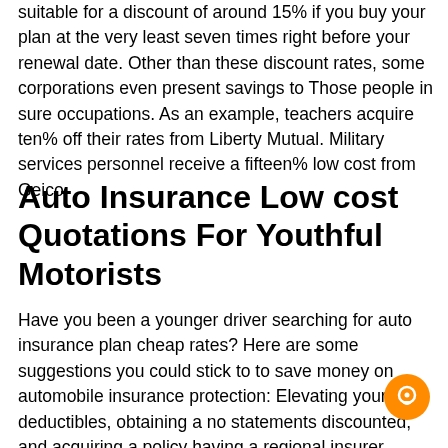suitable for a discount of around 15% if you buy your plan at the very least seven times right before your renewal date. Other than these discount rates, some corporations even present savings to Those people in sure occupations. As an example, teachers acquire ten% off their rates from Liberty Mutual. Military services personnel receive a fifteen% low cost from Geico.
Auto Insurance Low cost Quotations For Youthful Motorists
Have you been a younger driver searching for auto insurance plan cheap rates? Here are some suggestions you could stick to to save money on automobile insurance protection: Elevating your deductibles, obtaining a no statements discounted, and acquiring a policy having a regional insurer. These guidelines can save you many hundreds of dollars each year in your vehicle insurance coverage plan. In addition they help you get the bottom costs feasible. Keep